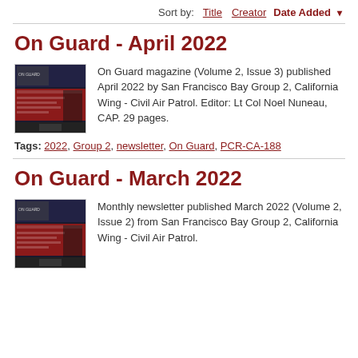Sort by: Title  Creator  Date Added ▾
On Guard - April 2022
[Figure (photo): Thumbnail cover image of On Guard magazine April 2022 issue, showing red and black layout with American flag imagery.]
On Guard magazine (Volume 2, Issue 3) published April 2022 by San Francisco Bay Group 2, California Wing - Civil Air Patrol. Editor: Lt Col Noel Nuneau, CAP. 29 pages.
Tags: 2022, Group 2, newsletter, On Guard, PCR-CA-188
On Guard - March 2022
[Figure (photo): Thumbnail cover image of On Guard magazine March 2022 issue, showing red and black layout with American flag imagery.]
Monthly newsletter published March 2022 (Volume 2, Issue 2) from San Francisco Bay Group 2, California Wing - Civil Air Patrol.